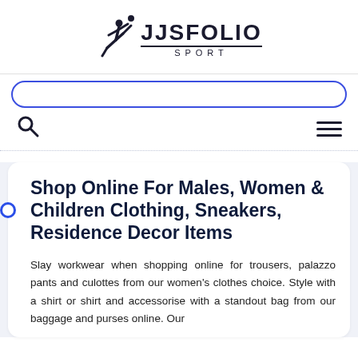[Figure (logo): JJSFOLIO Sport logo with a soccer player silhouette kicking a ball and the brand name JJSFOLIO in bold uppercase letters with SPORT subtitle]
[Figure (screenshot): Search bar input field with blue border and rounded corners]
[Figure (screenshot): Navigation icons row: search (magnifying glass) icon on left, hamburger menu icon (three lines) on right]
Shop Online For Males, Women & Children Clothing, Sneakers, Residence Decor Items
Slay workwear when shopping online for trousers, palazzo pants and culottes from our women's clothes choice. Style with a shirt or shirt and accessorise with a standout bag from our baggage and purses online. Our